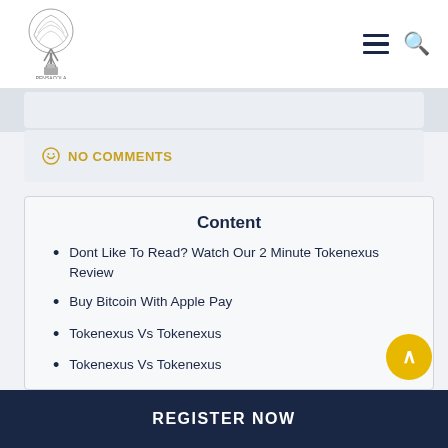[Figure (logo): Website logo with tree illustration and text 'PENSACOLA']
Navigation header with hamburger menu and search icon
NO COMMENTS
Content
Dont Like To Read? Watch Our 2 Minute Tokenexus Review
Buy Bitcoin With Apple Pay
Tokenexus Vs Tokenexus
Tokenexus Vs Tokenexus
What States Does Tokenexus Work In?
REGISTER NOW